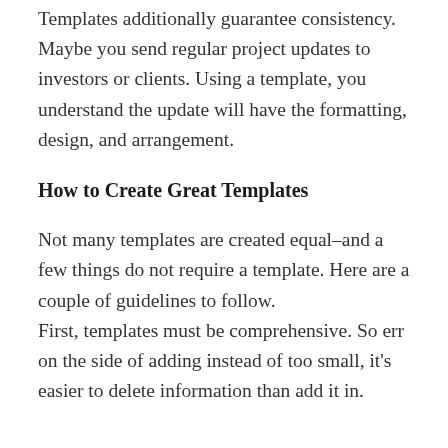Templates additionally guarantee consistency. Maybe you send regular project updates to investors or clients. Using a template, you understand the update will have the formatting, design, and arrangement.
How to Create Great Templates
Not many templates are created equal–and a few things do not require a template. Here are a couple of guidelines to follow.
First, templates must be comprehensive. So err on the side of adding instead of too small, it's easier to delete information than add it in.